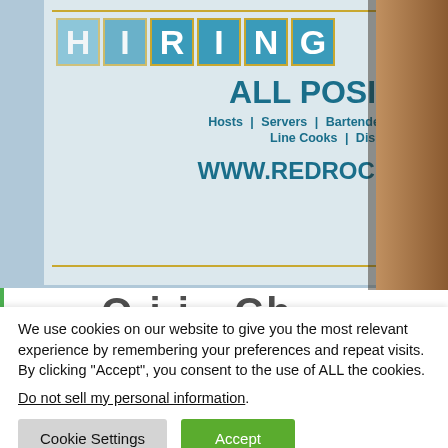[Figure (photo): A restaurant hiring sign in a window reading 'HIRING ALL POSITIONS - Hosts, Servers, Bartenders, Food Runners, Line Cooks, Dishwashers - WWW.REDROCKSDC.COM' with teal/blue text on a light background, door frame visible on right]
We use cookies on our website to give you the most relevant experience by remembering your preferences and repeat visits. By clicking “Accept”, you consent to the use of ALL the cookies.
Do not sell my personal information.
Cookie Settings
Accept